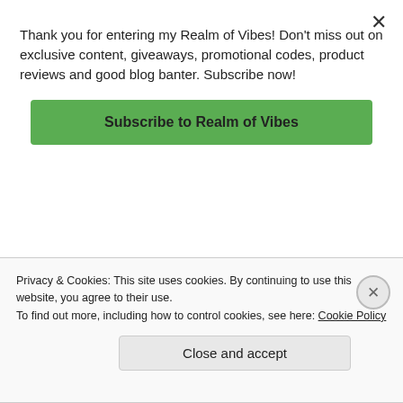Thank you for entering my Realm of Vibes! Don't miss out on exclusive content, giveaways, promotional codes, product reviews and good blog banter. Subscribe now!
Subscribe to Realm of Vibes
ailments and issues. It would make a great gift!
★ Like
REPLY
Privacy & Cookies: This site uses cookies. By continuing to use this website, you agree to their use.
To find out more, including how to control cookies, see here: Cookie Policy
Close and accept